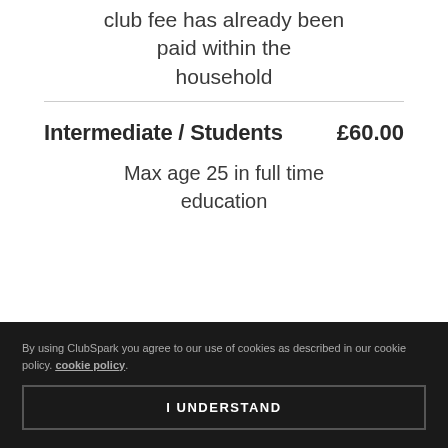club fee has already been paid within the household
Intermediate / Students   £60.00
Max age 25 in full time education
By using ClubSpark you agree to our use of cookies as described in our cookie policy. cookie policy.
I UNDERSTAND